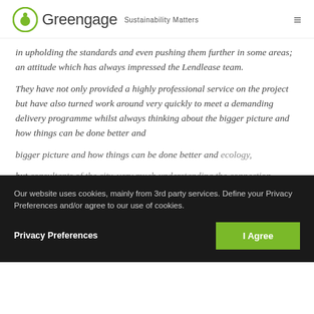Greengage — Sustainability Matters
in upholding the standards and even pushing them further in some areas; an attitude which has always impressed the Lendlease team.
They have not only provided a highly professional service on the project but have also turned work around very quickly to meet a demanding delivery programme whilst always thinking about the bigger picture and how things can be done better and... ecology, but... consultants of the city, very much understanding the connection between people and nature...
Our website uses cookies, mainly from 3rd party services. Define your Privacy Preferences and/or agree to our use of cookies.
Privacy Preferences
I Agree
Greengage have also delivered a number of